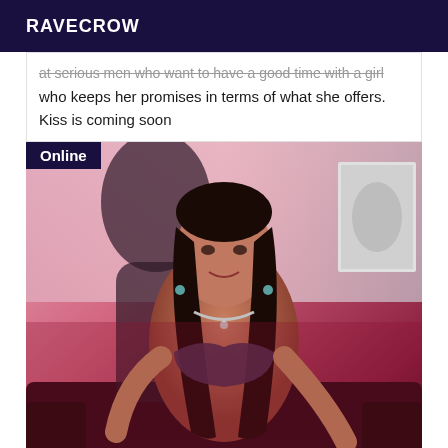RAVECROW
at serious men who want to have a good time with a girl who keeps her promises in terms of what she offers. Kiss is coming soon
[Figure (photo): Woman with long black hair wearing a bejeweled bra top and necklace, seated on a dark sofa against a pink/red lit background. An 'Online' badge appears in the top left corner of the image.]